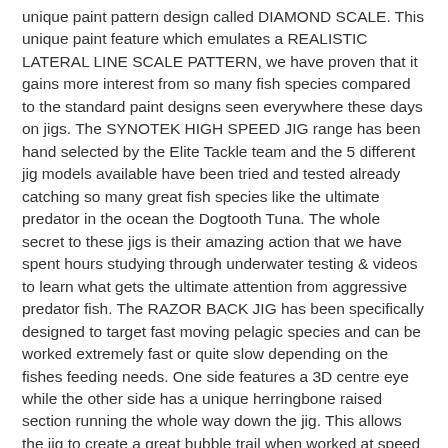unique paint pattern design called DIAMOND SCALE. This unique paint feature which emulates a REALISTIC LATERAL LINE SCALE PATTERN, we have proven that it gains more interest from so many fish species compared to the standard paint designs seen everywhere these days on jigs. The SYNOTEK HIGH SPEED JIG range has been hand selected by the Elite Tackle team and the 5 different jig models available have been tried and tested already catching so many great fish species like the ultimate predator in the ocean the Dogtooth Tuna. The whole secret to these jigs is their amazing action that we have spent hours studying through underwater testing & videos to learn what gets the ultimate attention from aggressive predator fish. The RAZOR BACK JIG has been specifically designed to target fast moving pelagic species and can be worked extremely fast or quite slow depending on the fishes feeding needs. One side features a 3D centre eye while the other side has a unique herringbone raised section running the whole way down the jig. This allows the jig to create a great bubble trail when worked at speed but also when pitched slowly it will slide erratically often enticing bites from the fussiest of eaters. Ideal for targeting monster Dog Tooth Tuna and all Tuna species, King fish, Mackerel etc but also all REEF species as it has a great flutter when worked slow.